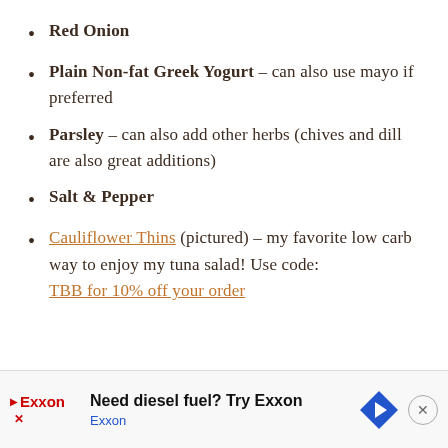Red Onion
Plain Non-fat Greek Yogurt – can also use mayo if preferred
Parsley – can also add other herbs (chives and dill are also great additions)
Salt & Pepper
Cauliflower Thins (pictured) – my favorite low carb way to enjoy my tuna salad! Use code: TBB for 10% off your order
Need diesel fuel? Try Exxon Exxon